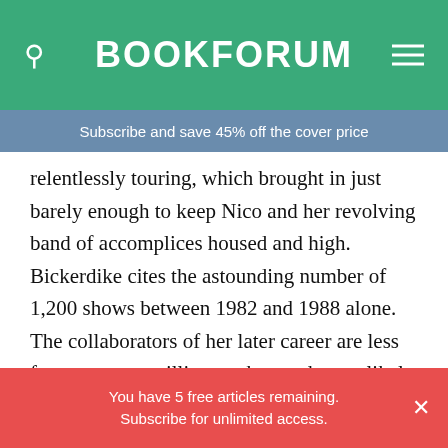BOOKFORUM
Subscribe and save 45% off the cover price
relentlessly touring, which brought in just barely enough to keep Nico and her revolving band of accomplices housed and high. Bickerdike cites the astounding number of 1,200 shows between 1982 and 1988 alone. The collaborators of her later career are less famous, more willing to chat, and more likely to be alive. Bickerdike offers extensive and crucial testimonies from people who knew Nico well, including James Young (both a bandmate and himself a Nico biographer) and, fascinatingly, two of
You have 5 free articles remaining. Subscribe for unlimited access.